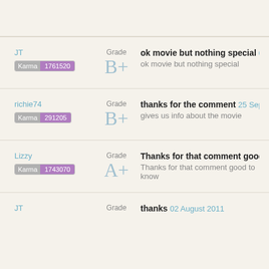JT | Karma 1761520 | Grade B+ | ok movie but nothing special 08 | ok movie but nothing special
richie74 | Karma 291205 | Grade B+ | thanks for the comment 25 September | gives us info about the movie
Lizzy | Karma 1743070 | Grade A+ | Thanks for that comment good to know | Thanks for that comment good to know
JT | Grade | thanks 02 August 2011